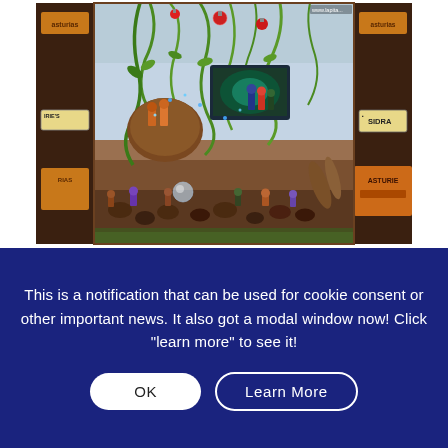[Figure (photo): A decorated shop window display with Christmas ornaments, green hanging plants, figurines, and various Asturias/Sidra branded signs on the left and right wooden frames. A URL 'www.lapita...' is visible in the top right corner.]
This is a notification that can be used for cookie consent or other important news. It also got a modal window now! Click "learn more" to see it!